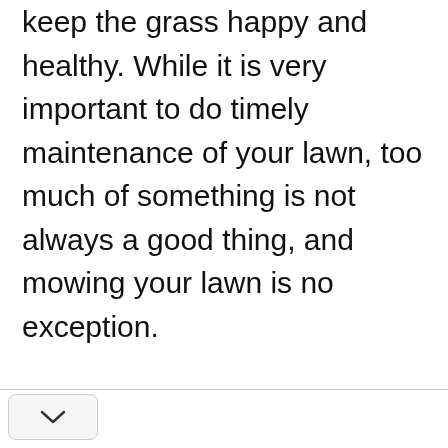keep the grass happy and healthy. While it is very important to do timely maintenance of your lawn, too much of something is not always a good thing, and mowing your lawn is no exception.